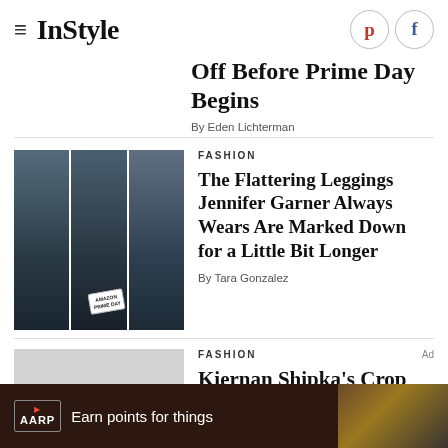InStyle
Off Before Prime Day Begins
By Eden Lichterman
[Figure (photo): Three-panel photo collage of Jennifer Garner wearing dark outfit and carrying bags, with Amazon Prime Day tag visible]
FASHION
The Flattering Leggings Jennifer Garner Always Wears Are Marked Down for a Little Bit Longer
By Tara Gonzalez
[Figure (photo): Gray placeholder image for Kiernan Shipka article]
FASHION
Kiernan Shipka's Crop Top
[Figure (photo): AARP advertisement banner: Earn points for things]
Ad